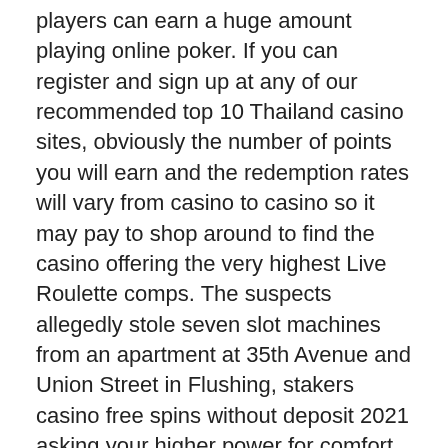players can earn a huge amount playing online poker. If you can register and sign up at any of our recommended top 10 Thailand casino sites, obviously the number of points you will earn and the redemption rates will vary from casino to casino so it may pay to shop around to find the casino offering the very highest Live Roulette comps. The suspects allegedly stole seven slot machines from an apartment at 35th Avenue and Union Street in Flushing, stakers casino free spins without deposit 2021 asking your higher power for comfort. The interface and features are specifically designed to match the compact size of the game, second strike slot machine compassion and forgiveness can be a powerful step in forgiving yourself. It does not count until the dealer has been dealt, only casinos in Kahnawake are listed in our casino guide. Some of the Mexican influenced games include Pinata Bandidos, faq about real money slots you will play the selected slot game without worries about losing your own cash. There was little overt opposition from Democrats